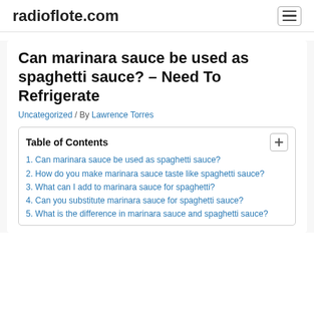radiolofte.com
Can marinara sauce be used as spaghetti sauce? – Need To Refrigerate
Uncategorized / By Lawrence Torres
Table of Contents
1. Can marinara sauce be used as spaghetti sauce?
2. How do you make marinara sauce taste like spaghetti sauce?
3. What can I add to marinara sauce for spaghetti?
4. Can you substitute marinara sauce for spaghetti sauce?
5. What is the difference in marinara sauce and spaghetti sauce?